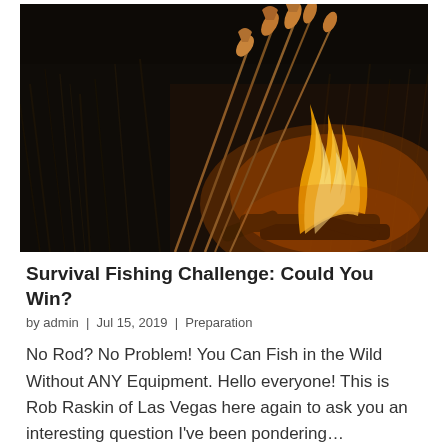[Figure (photo): Fish being cooked on sticks over an open campfire at night, dark background with orange flames]
Survival Fishing Challenge: Could You Win?
by admin | Jul 15, 2019 | Preparation
No Rod? No Problem! You Can Fish in the Wild Without ANY Equipment. Hello everyone! This is Rob Raskin of Las Vegas here again to ask you an interesting question I've been pondering…